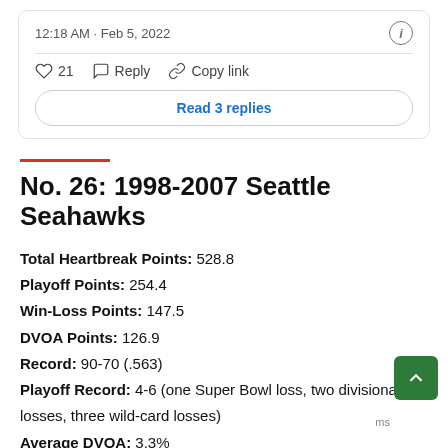12:18 AM · Feb 5, 2022
21   Reply   Copy link
Read 3 replies
No. 26: 1998-2007 Seattle Seahawks
Total Heartbreak Points: 528.8
Playoff Points: 254.4
Win-Loss Points: 147.5
DVOA Points: 126.9
Record: 90-70 (.563)
Playoff Record: 4-6 (one Super Bowl loss, two divisional losses, three wild-card losses)
Average DVOA: 3.3%
Head Coaches: Dennis Erickson, Mike Holmgren